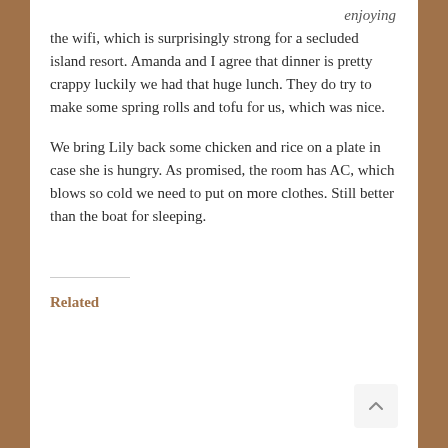enjoying the wifi, which is surprisingly strong for a secluded island resort. Amanda and I agree that dinner is pretty crappy luckily we had that huge lunch. They do try to make some spring rolls and tofu for us, which was nice.
We bring Lily back some chicken and rice on a plate in case she is hungry. As promised, the room has AC, which blows so cold we need to put on more clothes. Still better than the boat for sleeping.
Related